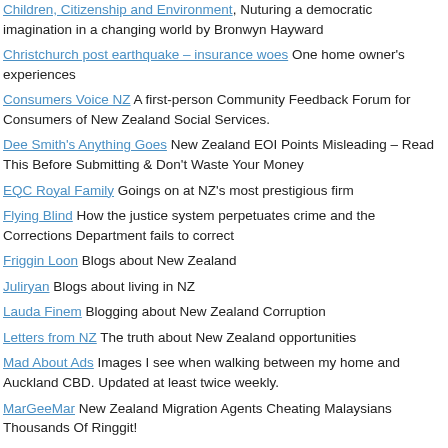Children, Citizenship and Environment, Nuturing a democratic imagination in a changing world by Bronwyn Hayward
Christchurch post earthquake – insurance woes One home owner's experiences
Consumers Voice NZ A first-person Community Feedback Forum for Consumers of New Zealand Social Services.
Dee Smith's Anything Goes New Zealand EOI Points Misleading – Read This Before Submitting & Don't Waste Your Money
EQC Royal Family Goings on at NZ's most prestigious firm
Flying Blind How the justice system perpetuates crime and the Corrections Department fails to correct
Friggin Loon Blogs about New Zealand
Juliryan Blogs about living in NZ
Lauda Finem Blogging about New Zealand Corruption
Letters from NZ The truth about New Zealand opportunities
Mad About Ads Images I see when walking between my home and Auckland CBD. Updated at least twice weekly.
MarGeeMar New Zealand Migration Agents Cheating Malaysians Thousands Of Ringgit!
Marsden Online Blogging from Christchurch